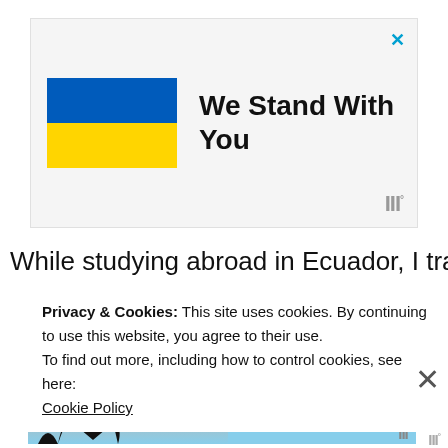[Figure (infographic): Advertisement banner with Ukrainian flag (blue and yellow horizontal stripes) and text 'We Stand With You' with a close X button and WW logo]
While studying abroad in Ecuador, I traveled to
Privacy & Cookies: This site uses cookies. By continuing to use this website, you agree to their use.
To find out more, including how to control cookies, see here:
Cookie Policy
[Figure (infographic): Advertisement banner with silhouette of hands making a heart shape against sunset background, with '#ViralKindness' text]